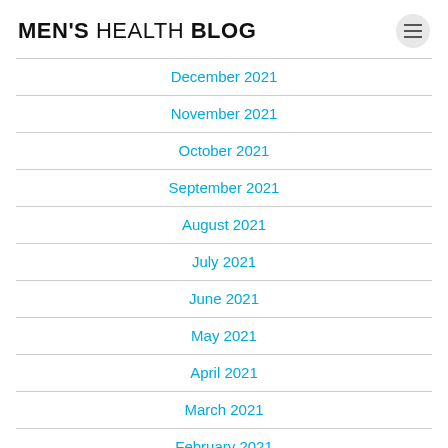MEN'S HEALTH BLOG
December 2021
November 2021
October 2021
September 2021
August 2021
July 2021
June 2021
May 2021
April 2021
March 2021
February 2021
January 2021